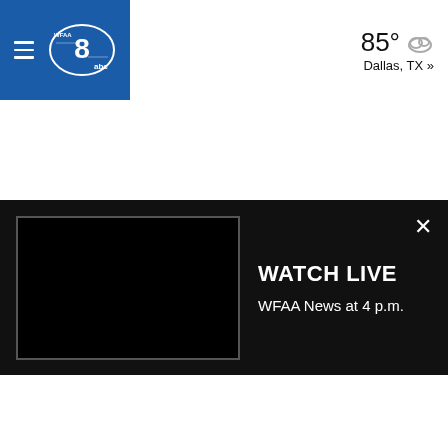[Figure (screenshot): WFAA ABC 8 logo on blue navigation bar with hamburger menu icon]
85° Dallas, TX »
[Figure (screenshot): Watch Live banner showing a black video thumbnail on left, WATCH LIVE title and 'WFAA News at 4 p.m.' text, with X close button]
[Figure (other): Diagonal gray striped advertisement strip]
[Figure (screenshot): Video thumbnail showing two elderly men with room number 131 sign and a play button overlay. wfaa.com watermark visible.]